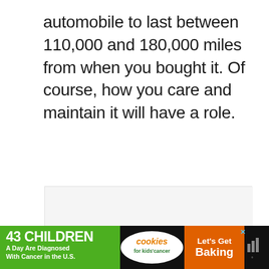automobile to last between 110,000 and 180,000 miles from when you bought it. Of course, how you care and maintain it will have a role.
[Figure (other): Empty light grey advertisement placeholder box with three small grey dots near the bottom center, indicating a loading or carousel state.]
[Figure (infographic): Bottom banner advertisement with black background. Left green section reads '43 CHILDREN A Day Are Diagnosed With Cancer in the U.S.' Center white oval reads 'cookies for kids cancer'. Right orange section reads 'Let's Get Baking'. A close/X button appears top right of the ad. A weather widget icon appears at far right.]